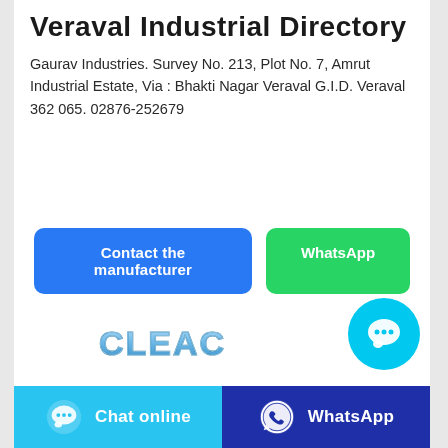Veraval Industrial Directory
Gaurav Industries. Survey No. 213, Plot No. 7, Amrut Industrial Estate, Via : Bhakti Nagar Veraval G.I.D. Veraval 362 065. 02876-252679
[Figure (infographic): Blue 'Contact the manufacturer' button and green 'WhatsApp' button]
[Figure (logo): CLEAGE logo in stylized icy/metallic lettering]
[Figure (illustration): Cyan circular chat bubble button with three dots]
[Figure (illustration): Pink rounded shape (partial avatar or icon)]
[Figure (infographic): Bottom bar with light blue 'Chat online' button and dark blue 'WhatsApp' button]